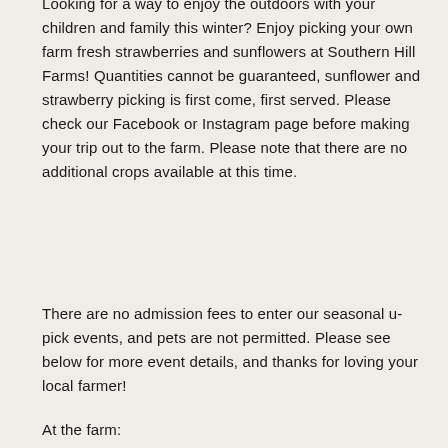Looking for a way to enjoy the outdoors with your children and family this winter? Enjoy picking your own farm fresh strawberries and sunflowers at Southern Hill Farms! Quantities cannot be guaranteed, sunflower and strawberry picking is first come, first served. Please check our Facebook or Instagram page before making your trip out to the farm. Please note that there are no additional crops available at this time.
There are no admission fees to enter our seasonal u-pick events, and pets are not permitted. Please see below for more event details, and thanks for loving your local farmer!
At the farm: